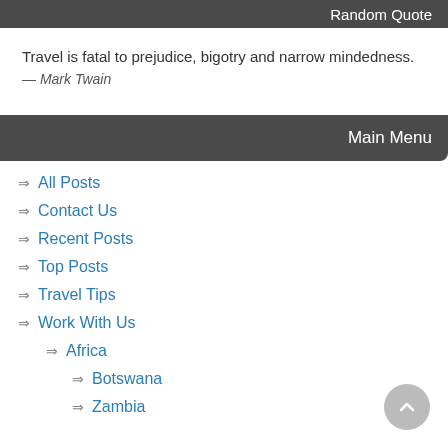Random Quote
Travel is fatal to prejudice, bigotry and narrow mindedness.
— Mark Twain
Main Menu
All Posts
Contact Us
Recent Posts
Top Posts
Travel Tips
Work With Us
Africa
Botswana
Zambia